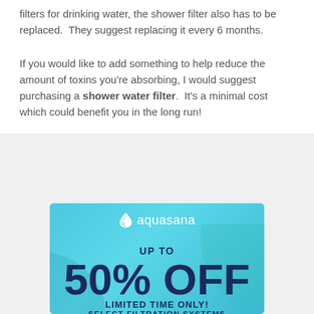filters for drinking water, the shower filter also has to be replaced.  They suggest replacing it every 6 months.
If you would like to add something to help reduce the amount of toxins you're absorbing, I would suggest purchasing a shower water filter.  It's a minimal cost which could benefit you in the long run!
[Figure (illustration): Aquasana advertisement banner with light blue background. Shows Aquasana logo with water drop icon, text reading 'UP TO 50% OFF SELECT FILTRATION SYSTEMS LIMITED TIME ONLY!' in dark navy blue on light blue background with teal curved decorative elements.]